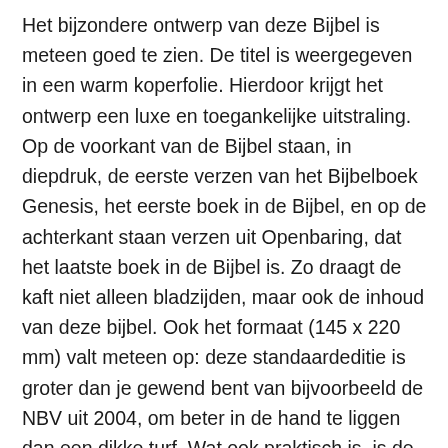Het bijzondere ontwerp van deze Bijbel is meteen goed te zien. De titel is weergegeven in een warm koperfolie. Hierdoor krijgt het ontwerp een luxe en toegankelijke uitstraling. Op de voorkant van de Bijbel staan, in diepdruk, de eerste verzen van het Bijbelboek Genesis, het eerste boek in de Bijbel, en op de achterkant staan verzen uit Openbaring, dat het laatste boek in de Bijbel is. Zo draagt de kaft niet alleen bladzijden, maar ook de inhoud van deze bijbel. Ook het formaat (145 x 220 mm) valt meteen op: deze standaardeditie is groter dan je gewend bent van bijvoorbeeld de NBV uit 2004, om beter in de hand te liggen dan een dikke turf. Wat ook praktisch is, is de voorziening van twee leeslinten (uit gerecycleerde petflessen). Voor het papier is gekozen voor 30-grams FSC paier, wat ons inziens wel wat dikker mocht zijn zodat het minder doorschijnt, maar dat dan weer het boek te